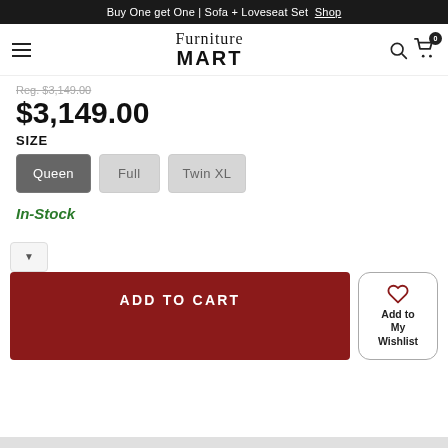Buy One get One | Sofa + Loveseat Set Shop
[Figure (logo): Furniture Mart logo with hamburger menu, search icon, and cart icon showing 0 items]
Reg. $3,149.00 (strikethrough)
$3,149.00
SIZE
Queen (selected)
Full
Twin XL
In-Stock
ADD TO CART
Add to My Wishlist